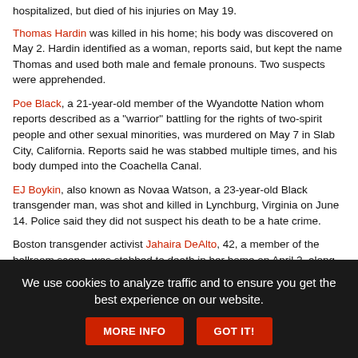hospitalized, but died of his injuries on May 19.
Thomas Hardin was killed in his home; his body was discovered on May 2. Hardin identified as a woman, reports said, but kept the name Thomas and used both male and female pronouns. Two suspects were apprehended.
Poe Black, a 21-year-old member of the Wyandotte Nation whom reports described as a "warrior" battling for the rights of two-spirit people and other sexual minorities, was murdered on May 7 in Slab City, California. Reports said he was stabbed multiple times, and his body dumped into the Coachella Canal.
EJ Boykin, also known as Novaa Watson, a 23-year-old Black transgender man, was shot and killed in Lynchburg, Virginia on June 14. Police said they did not suspect his death to be a hate crime.
Boston transgender activist Jahaira DeAlto, 42, a member of the ballroom scene, was stabbed to death in her home on April 2, along with another woman.
...
We use cookies to analyze traffic and to ensure you get the best experience on our website.